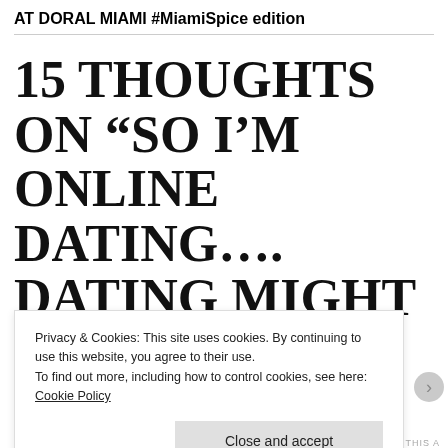AT DORAL MIAMI #MiamiSpice edition
15 THOUGHTS ON “SO I’M ONLINE DATING…. DATING MIGHT BE TOO STRONG A WORD”
Privacy & Cookies: This site uses cookies. By continuing to use this website, you agree to their use.
To find out more, including how to control cookies, see here: Cookie Policy
Close and accept